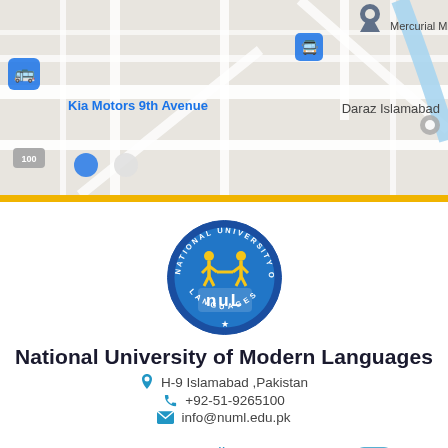[Figure (screenshot): Google Maps screenshot showing area with Kia Motors 9th Avenue, Daraz Islamabad Warehouse, Mercurial Minds pvt labels and map roads]
[Figure (logo): National University of Modern Languages circular logo with blue background, yellow figures holding hands, NUL text in white, star at bottom]
National University of Modern Languages
H-9 Islamabad ,Pakistan
+92-51-9265100
info@numl.edu.pk
[Figure (infographic): Social media icons: Facebook, Twitter, YouTube, LinkedIn, Instagram in blue color]